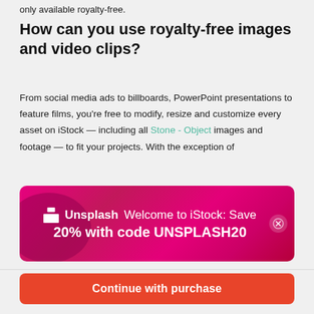only available royalty-free.
How can you use royalty-free images and video clips?
From social media ads to billboards, PowerPoint presentations to feature films, you're free to modify, resize and customize every asset on iStock — including all Stone - Object images and footage — to fit your projects. With the exception of
[Figure (infographic): Unsplash promotional banner on magenta/pink gradient background with Unsplash logo and text: Welcome to iStock: Save 20% with code UNSPLASH20. Close button on the right.]
$33 | 3 credits
Continue with purchase